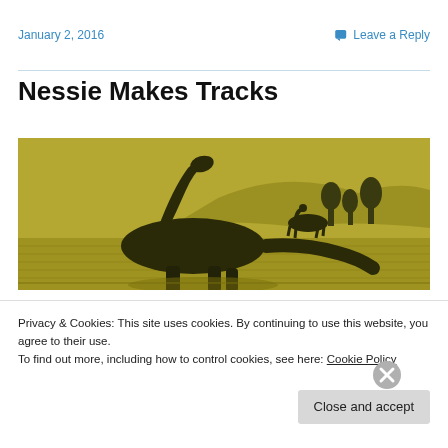January 2, 2016    Leave a Reply
Nessie Makes Tracks
[Figure (illustration): Sepia-toned illustration of large dinosaur-like creatures (sauropods/plesiosaurs) wading in shallow water with rocky outcroppings and trees in the background]
Privacy & Cookies: This site uses cookies. By continuing to use this website, you agree to their use.
To find out more, including how to control cookies, see here: Cookie Policy
Close and accept